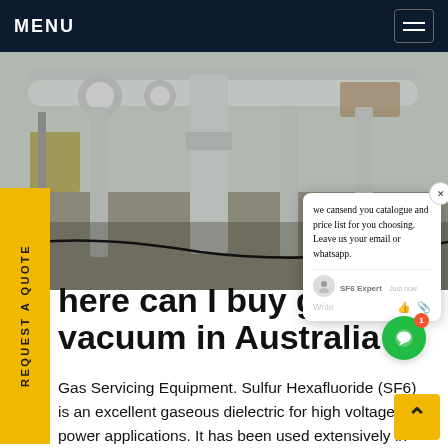MENU
[Figure (photo): Industrial gas facility with large pipes and columns on gravel ground, outdoor industrial site]
REQUEST A QUOTE
we can send you catalogue and price list for you choosing. Leave us your email or whatsapp.
here can I buy gis sf6 vacuum in Australia
Gas Servicing Equipment. Sulfur Hexafluoride (SF6) is an excellent gaseous dielectric for high voltage power applications. It has been used extensively in high voltage circuit breakers and other